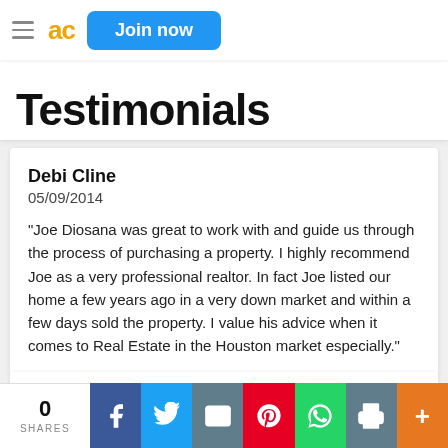Join now
Testimonials
Debi Cline
05/09/2014
"Joe Diosana was great to work with and guide us through the process of purchasing a property. I highly recommend Joe as a very professional realtor. In fact Joe listed our home a few years ago in a very down market and within a few days sold the property. I value his advice when it comes to Real Estate in the Houston market especially."
Sunil Dubey
0 SHARES | Facebook | Twitter | Email | Pinterest | WhatsApp | Print | More